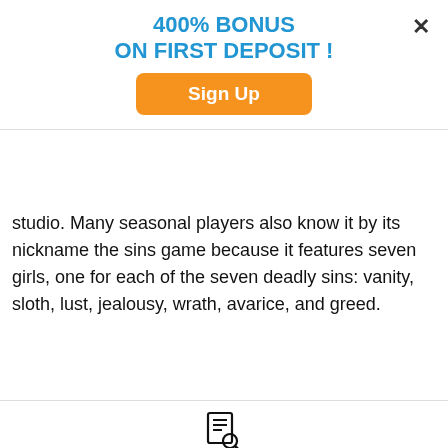[Figure (other): Popup banner with '400% BONUS ON FIRST DEPOSIT!' heading in blue, an orange 'Sign Up' button, and an X close button in the top right corner.]
Play'N Go is responsible for making slots with fast payout. The 7 Sins slot game is no exception and another hit from their studio. Many seasonal players also know it by its nickname the sins game because it features seven girls, one for each of the seven deadly sins: vanity, sloth, lust, jealousy, wrath, avarice, and greed.
SLOT DETAILS
Software — Play'n Go
Slot Type — Video slots
Paylines — 50
Reels — 7
Min Coins Per Line — 1